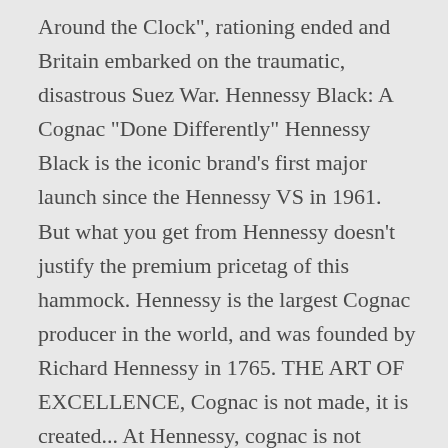Around the Clock", rationing ended and Britain embarked on the traumatic, disastrous Suez War. Hennessy Black: A Cognac “Done Differently” Hennessy Black is the iconic brand's first major launch since the Hennessy VS in 1961. But what you get from Hennessy doesn't justify the premium pricetag of this hammock. Hennessy is the largest Cognac producer in the world, and was founded by Richard Hennessy in 1765. THE ART OF EXCELLENCE, Cognac is not made, it is created... At Hennessy, cognac is not improvised. Canadian Mist is Bottled at a higher ABV (43%), and blended from a younger stock, its bold flavors shine through when ... The term